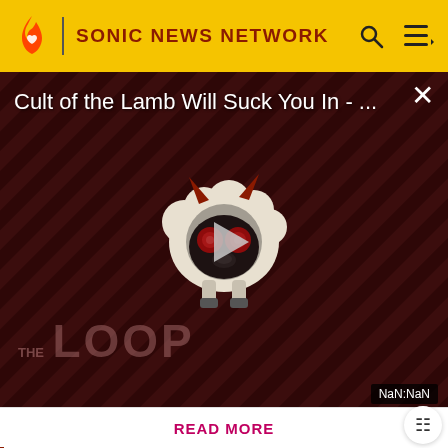SONIC NEWS NETWORK
[Figure (screenshot): Video player showing 'Cult of the Lamb Will Suck You In - ...' with a cartoon lamb character with devil horns and red eyes, play button in center, THE LOOP watermark, NaN:NaN timer, close button, on a dark red diagonal stripe background.]
lives when fulfilling the following requirements:
Know something we don't about Sonic? Don't hesitate in signing up today! It's fast, free, and easy, and you will get a
READ MORE